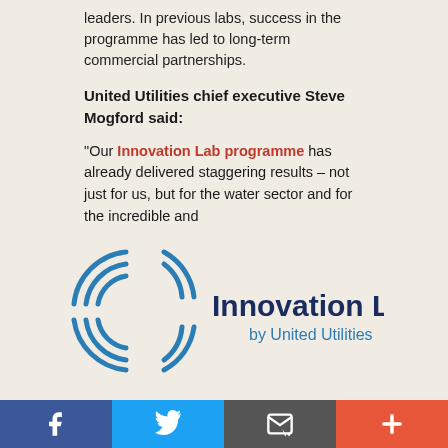leaders. In previous labs, success in the programme has led to long-term commercial partnerships.
United Utilities chief executive Steve Mogford said:
"Our Innovation Lab programme has already delivered staggering results – not just for us, but for the water sector and for the incredible and
[Figure (logo): Innovation Lab by United Utilities logo — circular blue swirl lines beside bold dark text 'Innovation Lab' with 'by United Utilities' below]
exciting companies who've taken part. We think it's a differentiator in the sector and is now firmly part of the way we do business as a company. We're always astonished at the ingenuity of applicants in improving our business in ways we would not have believed. That's why we have introduced a new 'wildcard'
f  Twitter  Email  +